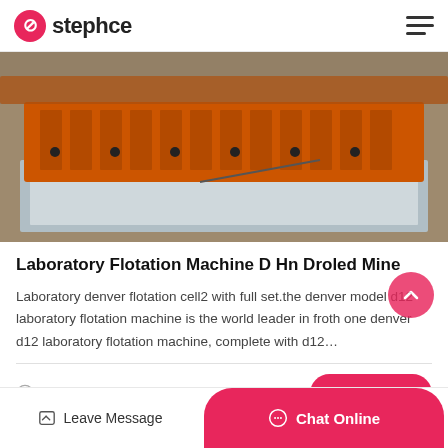stephce
[Figure (photo): Industrial orange-colored laboratory flotation machine components laid out outdoors on ground, with metal frame structure visible below]
Laboratory Flotation Machine D Hn Droled Mine
Laboratory denver flotation cell2 with full set.the denver model d12 laboratory flotation machine is the world leader in froth one denver d12 laboratory flotation machine, complete with d12...
Oct_28
Get Price
Leave Message   Chat Online